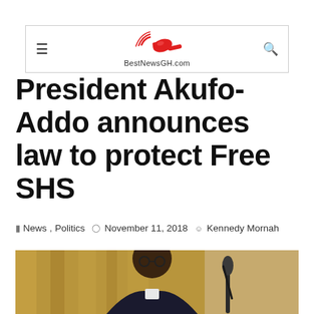BestNewsGH.com
President Akufo-Addo announces law to protect Free SHS
News, Politics   November 11, 2018   Kennedy Mornah
[Figure (photo): Photo of President Akufo-Addo wearing glasses and a dark suit, speaking at a podium with microphones, with a golden curtain background]